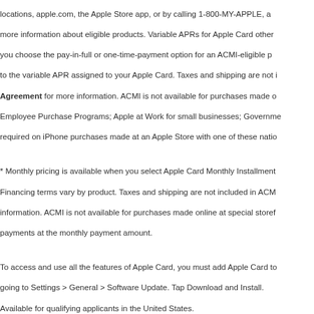locations, apple.com, the Apple Store app, or by calling 1-800-MY-APPLE, a more information about eligible products. Variable APRs for Apple Card other you choose the pay-in-full or one-time-payment option for an ACMI-eligible p to the variable APR assigned to your Apple Card. Taxes and shipping are not i Agreement for more information. ACMI is not available for purchases made on Employee Purchase Programs; Apple at Work for small businesses; Governme required on iPhone purchases made at an Apple Store with one of these nation
* Monthly pricing is available when you select Apple Card Monthly Installment Financing terms vary by product. Taxes and shipping are not included in ACM information. ACMI is not available for purchases made online at special storef payments at the monthly payment amount.
To access and use all the features of Apple Card, you must add Apple Card to going to Settings > General > Software Update. Tap Download and Install. Available for qualifying applicants in the United States. Apple Card is issued by Goldman Sachs Bank USA, Salt Lake City Branch.
Compatible with Apple Watch SE and Apple Watch Series 4 or later. Bands are subject to availability. †† We approximate your location from your internet IP address by matching
Watch > Buy Apple Watch Bands > 45mm Nectarine Solo Lo
Shop and Learn